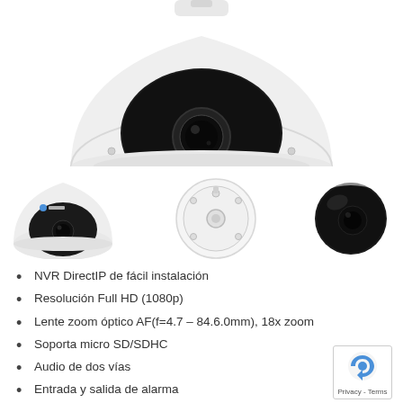[Figure (photo): Dome security camera, top view, white housing with dark dome, close-up product shot on white background]
[Figure (photo): Three product views of dome security camera: front angle view (left), bottom/ceiling mount view (center), dark dome bubble view (right)]
NVR DirectIP de fácil instalación
Resolución Full HD (1080p)
Lente zoom óptico AF(f=4.7 – 84.6.0mm), 18x zoom
Soporta micro SD/SDHC
Audio de dos vías
Entrada y salida de alarma
Carcasa anti-vandálica / soporta IP66
Calefactor incluido
PoE (IEEE 802.3af Clase 4), 12V CD, 24V AC